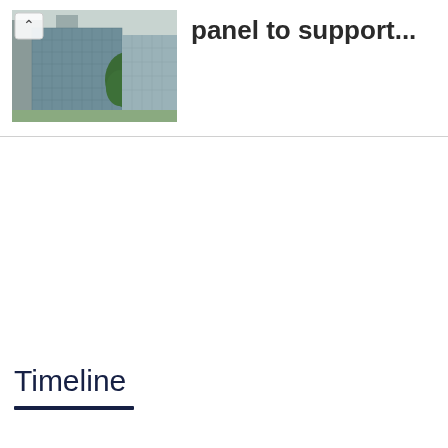[Figure (photo): Photograph of a modern building with glass facade and trees in the foreground, with a back/up arrow button overlay in the top-left corner]
panel to support...
Timeline